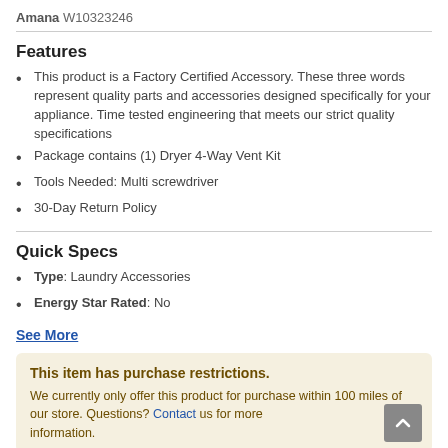Amana W10323246
Features
This product is a Factory Certified Accessory. These three words represent quality parts and accessories designed specifically for your appliance. Time tested engineering that meets our strict quality specifications
Package contains (1) Dryer 4-Way Vent Kit
Tools Needed: Multi screwdriver
30-Day Return Policy
Quick Specs
Type: Laundry Accessories
Energy Star Rated: No
See More
This item has purchase restrictions. We currently only offer this product for purchase within 100 miles of our store. Questions? Contact us for more information.